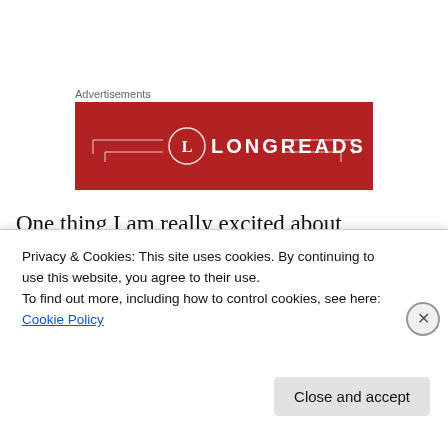Advertisements
[Figure (logo): Longreads advertisement banner — red background with circular L logo and LONGREADS text in white, decorative bracket lines on left and right]
One thing I am really excited about, however, is the book we are reading in Bible Study. We are doing True North by Gary and Lisa Heim, all about choosing to “go north” and follow God’s way in tough situations rather than “go south”
Privacy & Cookies: This site uses cookies. By continuing to use this website, you agree to their use.
To find out more, including how to control cookies, see here: Cookie Policy
Close and accept